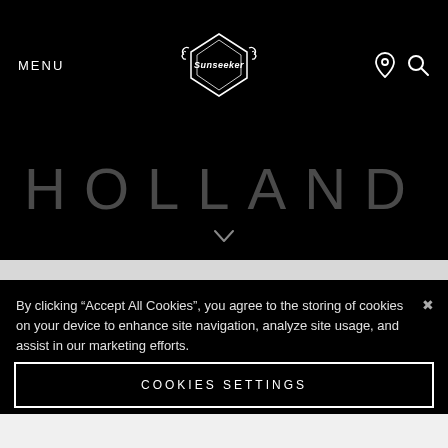MENU
[Figure (logo): Sunseeker logo — white emblem with wreath and diamond shape with 'Sunseeker' text]
HOLLAND
JBYS – HOLLAND
By clicking “Accept All Cookies”, you agree to the storing of cookies on your device to enhance site navigation, analyze site usage, and assist in our marketing efforts.
COOKIES SETTINGS